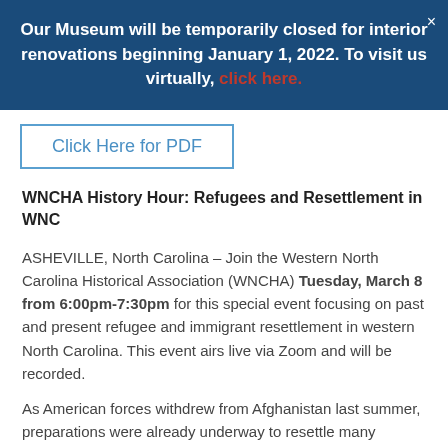Our Museum will be temporarily closed for interior renovations beginning January 1, 2022. To visit us virtually, click here.
Click Here for PDF
WNCHA History Hour: Refugees and Resettlement in WNC
ASHEVILLE, North Carolina – Join the Western North Carolina Historical Association (WNCHA) Tuesday, March 8 from 6:00pm-7:30pm for this special event focusing on past and present refugee and immigrant resettlement in western North Carolina. This event airs live via Zoom and will be recorded.
As American forces withdrew from Afghanistan last summer, preparations were already underway to resettle many Afghans in the United States. In this